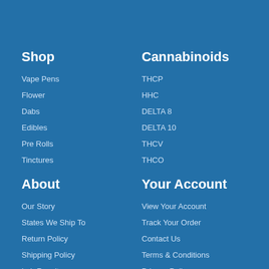Shop
Vape Pens
Flower
Dabs
Edibles
Pre Rolls
Tinctures
About
Our Story
States We Ship To
Return Policy
Shipping Policy
Lab Results
Cannabinoids
THCP
HHC
DELTA 8
DELTA 10
THCV
THCO
Your Account
View Your Account
Track Your Order
Contact Us
Terms & Conditions
Privacy Policy